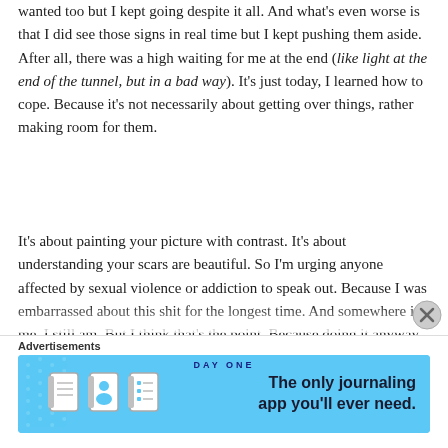wanted too but I kept going despite it all. And what's even worse is that I did see those signs in real time but I kept pushing them aside. After all, there was a high waiting for me at the end (like light at the end of the tunnel, but in a bad way). It's just today, I learned how to cope. Because it's not necessarily about getting over things, rather making room for them.
It's about painting your picture with contrast. It's about understanding your scars are beautiful. So I'm urging anyone affected by sexual violence or addiction to speak out. Because I was embarrassed about this shit for the longest time. And somewhere in me, I still am. But I think that's the point. Because doing it anyway—even though you're scared, well—that's bravery. Because it felt like I'd been living underground. But for a moment, I was…
Advertisements
[Figure (infographic): DAY ONE journaling app advertisement banner with blue background, app icons (journal, person, list), and text 'The only journaling app you'll ever need.']